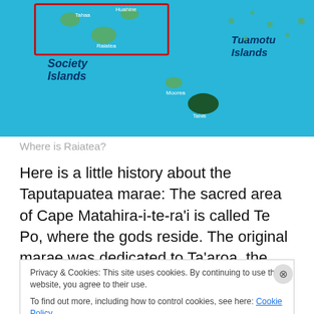[Figure (map): Map showing French Polynesia islands including Society Islands (with Tahaa, Huahine, Raiatea highlighted in a red box), Moorea, Tahiti, and Tuamotu Islands on a blue ocean background.]
Where is Raiatea?
Here is a little history about the Taputapuatea marae: The sacred area of Cape Matahira-i-te-ra'i is called Te Po, where the gods reside. The original marae was dedicated to Ta'aroa, the supreme god of creation and was also. Later, the worship of ‘Oro (the god of life and death)
Privacy & Cookies: This site uses cookies. By continuing to use this website, you agree to their use.
To find out more, including how to control cookies, see here: Cookie Policy